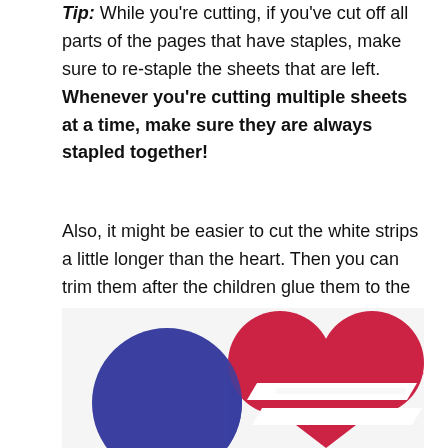Tip: While you're cutting, if you've cut off all parts of the pages that have staples, make sure to re-staple the sheets that are left. Whenever you're cutting multiple sheets at a time, make sure they are always stapled together!
Also, it might be easier to cut the white strips a little longer than the heart. Then you can trim them after the children glue them to the red heart.
[Figure (photo): A red paper heart with white paper strips woven through it, overlapping with a blue circle shape, on a white background. The craft project shows a heart weaving activity for children.]